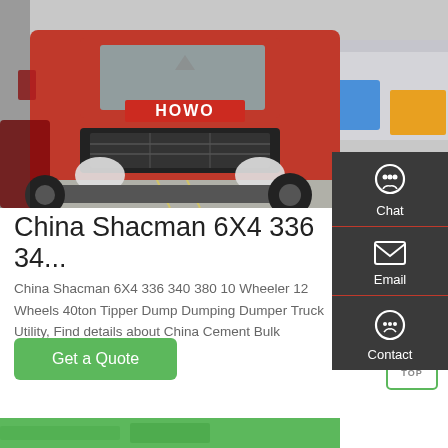[Figure (photo): Red HOWO truck (Shacman 6X4) parked in a depot yard, front-facing view. Background shows other trucks and a warehouse building.]
China Shacman 6X4 336 34...
China Shacman 6X4 336 340 380 10 Wheeler 12 Wheels 40ton Tipper Dump Dumping Dumper Truck Utility, Find details about China Cement Bulk Carrier Truck, Trailer...
[Figure (screenshot): Sidebar panel with Chat, Email, and Contact icons on dark background]
[Figure (other): Green 'Get a Quote' button]
[Figure (other): TOP navigation button with green border and up arrow]
[Figure (photo): Partial bottom image strip in green, cropped at bottom of page]